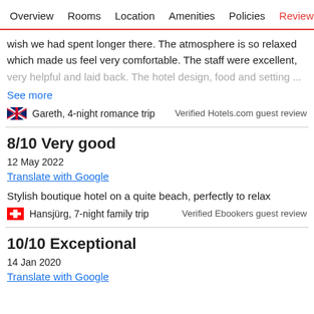Overview  Rooms  Location  Amenities  Policies  Reviews
wish we had spent longer there. The atmosphere is so relaxed which made us feel very comfortable. The staff were excellent, very helpful and laid back. The hotel design, food and setting...
See more
Gareth, 4-night romance trip
Verified Hotels.com guest review
8/10 Very good
12 May 2022
Translate with Google
Stylish boutique hotel on a quite beach, perfectly to relax
Hansjürg, 7-night family trip
Verified Ebookers guest review
10/10 Exceptional
14 Jan 2020
Translate with Google